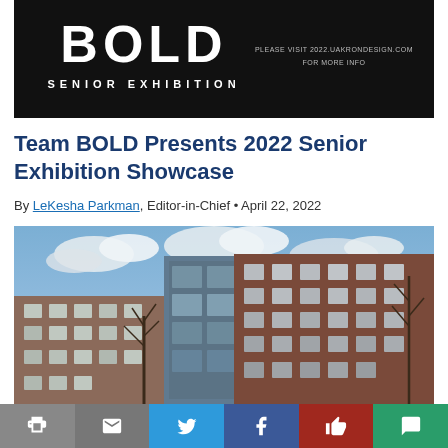[Figure (illustration): Black banner with BOLD logo and 'SENIOR EXHIBITION' text. Right side says 'PLEASE VISIT 2022.UAKRONDESIGN.COM FOR MORE INFO']
Team BOLD Presents 2022 Senior Exhibition Showcase
By LeKesha Parkman, Editor-in-Chief • April 22, 2022
[Figure (photo): Photograph of a brick university building (Williams Honors College) shot from a low angle against a partly cloudy blue sky, with bare winter trees visible.]